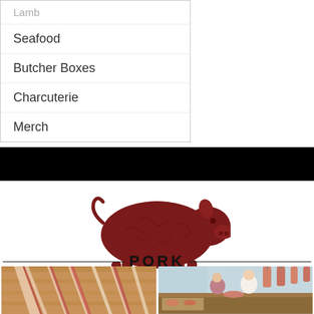Lamb
Seafood
Butcher Boxes
Charcuterie
Merch
[Figure (illustration): Dark red vintage/rustic silhouette illustration of a pig]
PORK
[Figure (photo): Photo of raw bacon strips on a wooden cutting board]
[Figure (illustration): Vintage illustration of a butcher shop scene with a butcher serving a customer, meat hanging in background]